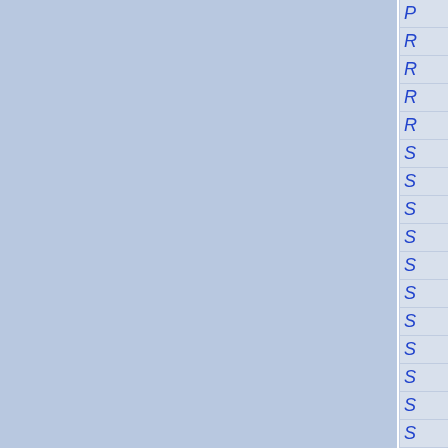[Figure (other): Navigation or index sidebar showing partial letters (P, R, R, R, R, S, S, S, S, S, S, S, S, S, S, S) against a blue-grey background, with two blue-grey panels separated by a white vertical divider on the left, and a right-side alphabetical index tab panel.]